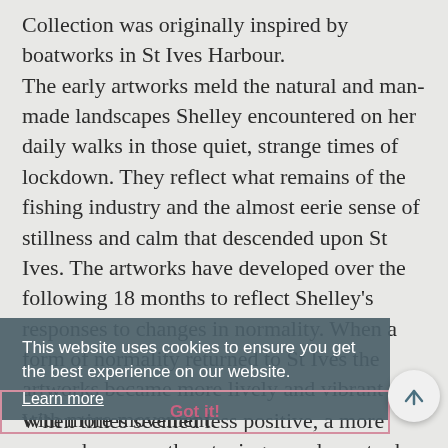Collection was originally inspired by boatworks in St Ives Harbour. The early artworks meld the natural and man-made landscapes Shelley encountered on her daily walks in those quiet, strange times of lockdown. They reflect what remains of the fishing industry and the almost eerie sense of stillness and calm that descended upon St Ives. The artworks have developed over the following 18 months to reflect Shelley's responses to changes in normality. When a form of normality returned to St Ives the artworks became more lively and vibrant with more movement.
This website uses cookies to ensure you get the best experience on our website.
Learn more
Got it!
When times seemed less positive, a more monochrome or threatening mood overtook the works. In the main, however, they form a